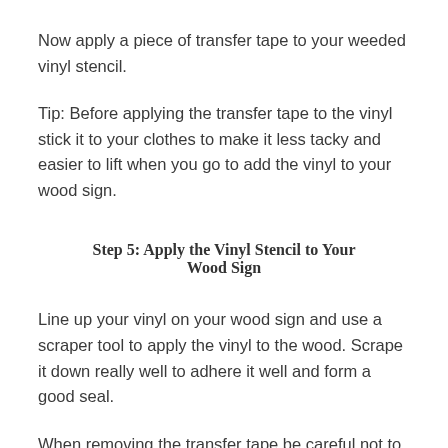Now apply a piece of transfer tape to your weeded vinyl stencil.
Tip: Before applying the transfer tape to the vinyl stick it to your clothes to make it less tacky and easier to lift when you go to add the vinyl to your wood sign.
Step 5: Apply the Vinyl Stencil to Your Wood Sign
Line up your vinyl on your wood sign and use a scraper tool to apply the vinyl to the wood. Scrape it down really well to adhere it well and form a good seal.
When removing the transfer tape be careful not to lift any of the